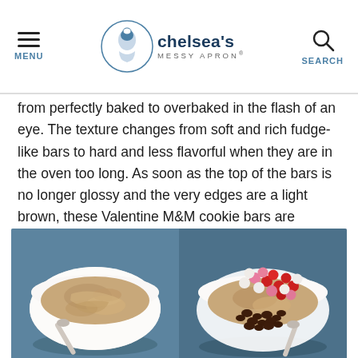MENU | chelsea's MESSY APRON® | SEARCH
from perfectly baked to overbaked in the flash of an eye. The texture changes from soft and rich fudge-like bars to hard and less flavorful when they are in the oven too long. As soon as the top of the bars is no longer glossy and the very edges are a light brown, these Valentine M&M cookie bars are finished!
[Figure (photo): White bowl with cookie dough mixture and a spoon, viewed from above on a blue background.]
[Figure (photo): White bowl with cookie dough topped with red, pink, and white M&M candies and chocolate chips, viewed from above on a blue background.]